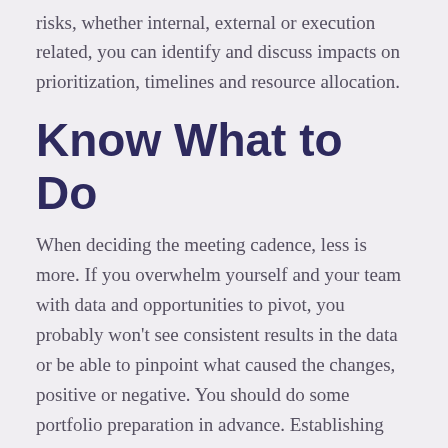risks, whether internal, external or execution related, you can identify and discuss impacts on prioritization, timelines and resource allocation.
Know What to Do
When deciding the meeting cadence, less is more. If you overwhelm yourself and your team with data and opportunities to pivot, you probably won't see consistent results in the data or be able to pinpoint what caused the changes, positive or negative. You should do some portfolio preparation in advance. Establishing cadence and good data execution is key to understanding overall portfolio health. Data you want to gather and have ready includes project or program status